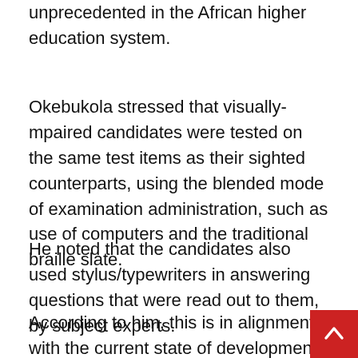unprecedented in the African higher education system.
Okebukola stressed that visually-mpaired candidates were tested on the same test items as their sighted counterparts, using the blended mode of examination administration, such as use of computers and the traditional braille slate.
He noted that the candidates also used stylus/typewriters in answering questions that were read out to them, by subject experts.
According to him, this is in alignment with the current state of development of the country's higher education system, with regard to education of the visually impaired.